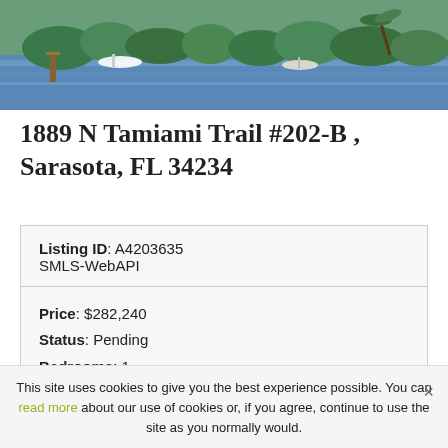[Figure (photo): Aerial or waterfront photo showing marina with boats and waterway lined with palm trees and greenery]
1889 N Tamiami Trail #202-B , Sarasota, FL 34234
| Listing ID: | A4203635 SMLS-WebAPI |
| Price: | $282,240 |
| Status: | Pending |
| Bedrooms: | 1 |
| Total Baths: | 2 |
| Full Baths: | 1 |
| Partial Baths: | 1 |
This site uses cookies to give you the best experience possible. You can read more about our use of cookies or, if you agree, continue to use the site as you normally would.